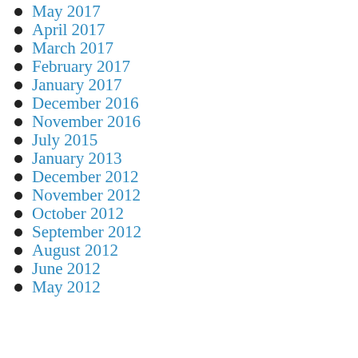May 2017
April 2017
March 2017
February 2017
January 2017
December 2016
November 2016
July 2015
January 2013
December 2012
November 2012
October 2012
September 2012
August 2012
June 2012
May 2012